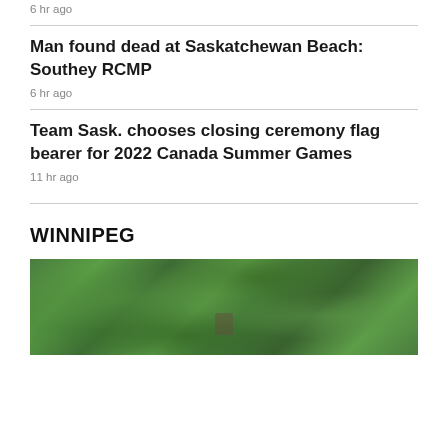6 hr ago
Man found dead at Saskatchewan Beach: Southey RCMP
6 hr ago
Team Sask. chooses closing ceremony flag bearer for 2022 Canada Summer Games
11 hr ago
WINNIPEG
[Figure (photo): Outdoor forest/wooded area with dense green trees and foliage, appears to show a person partially visible among the trees]